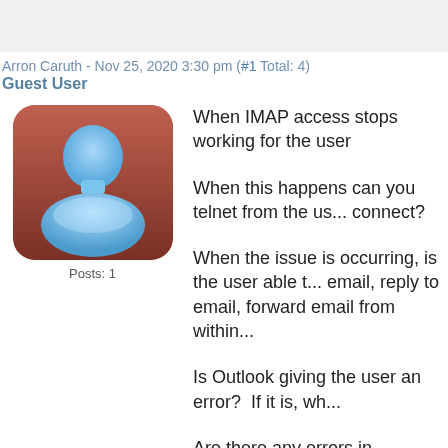Arron Caruth - Nov 25, 2020 3:30 pm (#1 Total: 4)
Guest User
[Figure (illustration): Blue cartoon avatar of a generic user figure with rounded square reddish-brown background, labeled Posts: 1]
When IMAP access stops working for the user
When this happens can you telnet from the us... connect?
When the issue is occurring, is the user able t... email, reply to email, forward email from within...
Is Outlook giving the user an error?  If it is, wh...
Are there any errors in MDaemon's system log...
You mention that this is not a lock file issue, do... issue is occurring?